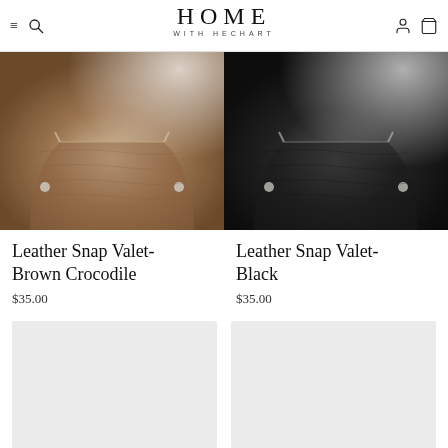HOME WITH HECHART — navigation header with hamburger menu, search, account, and cart icons
[Figure (photo): Leather Snap Valet in Brown Crocodile texture, top-down view, silver hardware visible, partially cropped]
[Figure (photo): Leather Snap Valet in Black texture, top-down view, silver hardware visible, partially cropped]
Leather Snap Valet- Brown Crocodile
$35.00
Leather Snap Valet- Black
$35.00
[Figure (photo): Product image placeholder — light gray background, image loading or not yet available]
[Figure (photo): Product image placeholder — light gray background, image loading or not yet available]